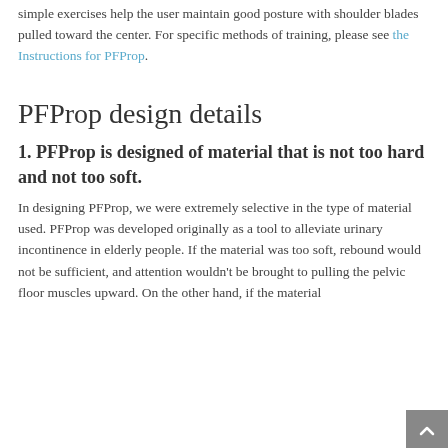simple exercises help the user maintain good posture with shoulder blades pulled toward the center. For specific methods of training, please see the Instructions for PFProp.
PFProp design details
1. PFProp is designed of material that is not too hard and not too soft.
In designing PFProp, we were extremely selective in the type of material used. PFProp was developed originally as a tool to alleviate urinary incontinence in elderly people. If the material was too soft, rebound would not be sufficient, and attention wouldn't be brought to pulling the pelvic floor muscles upward. On the other hand, if the material